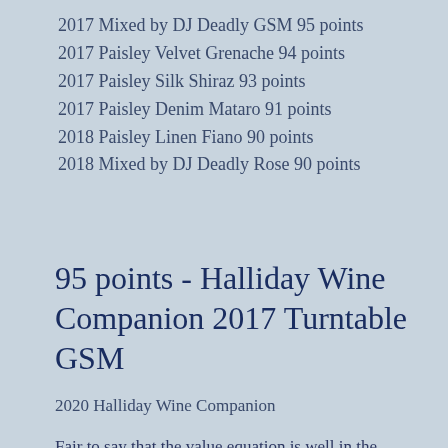2017 Mixed by DJ Deadly GSM 95 points
2017 Paisley Velvet Grenache 94 points
2017 Paisley Silk Shiraz 93 points
2017 Paisley Denim Mataro 91 points
2018 Paisley Linen Fiano 90 points
2018 Mixed by DJ Deadly Rose 90 points
95 points - Halliday Wine Companion 2017 Turntable GSM
2020 Halliday Wine Companion
Fair to say that the value equation is well in the buyer’s favour. This is right in the GSM zone; medium-weight, well fruited, earthen and awash with well-integrated woodsy-spice notes. Balance has been judged just